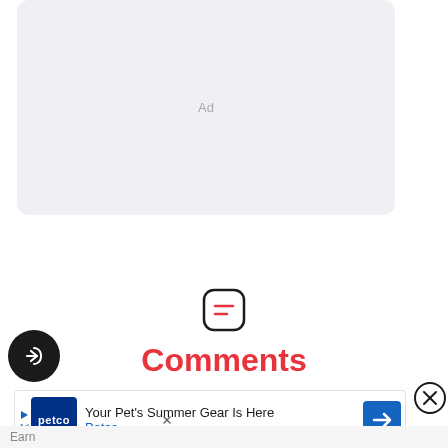[Figure (other): Gray rounded rectangle ad placeholder with 'Ad' label in center]
[Figure (other): Rounded square icon with two horizontal lines inside, representing comments]
Comments
[Figure (other): Black circular share/re-share button icon]
[Figure (other): Petco advertisement banner: 'Your Pet's Summer Gear Is Here' with Petco logo and navigation arrow icon]
[Figure (other): Close (X) button circle top right of ad banner]
Earn